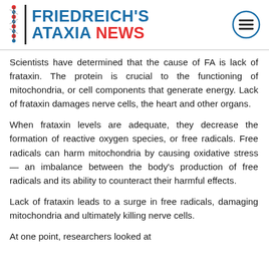FRIEDREICH'S ATAXIA NEWS
Scientists have determined that the cause of FA is lack of frataxin. The protein is crucial to the functioning of mitochondria, or cell components that generate energy. Lack of frataxin damages nerve cells, the heart and other organs.
When frataxin levels are adequate, they decrease the formation of reactive oxygen species, or free radicals. Free radicals can harm mitochondria by causing oxidative stress — an imbalance between the body's production of free radicals and its ability to counteract their harmful effects.
Lack of frataxin leads to a surge in free radicals, damaging mitochondria and ultimately killing nerve cells.
At one point, researchers looked at